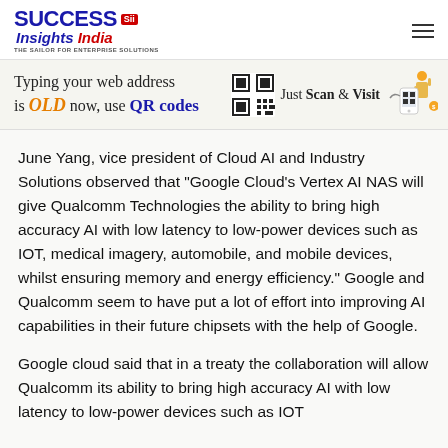SUCCESS Insights India — THE SAILOR FOR ENTERPRISE SOLUTIONS
[Figure (infographic): Advertisement banner: 'Typing your web address is OLD now, use QR codes — Just Scan & Visit' with QR code graphic and person scanning phone illustration]
June Yang, vice president of Cloud AI and Industry Solutions observed that “Google Cloud’s Vertex AI NAS will give Qualcomm Technologies the ability to bring high accuracy AI with low latency to low-power devices such as IOT, medical imagery, automobile, and mobile devices, whilst ensuring memory and energy efficiency.” Google and Qualcomm seem to have put a lot of effort into improving AI capabilities in their future chipsets with the help of Google.
Google cloud said that in a treaty the collaboration will allow Qualcomm its ability to bring high accuracy AI with low latency to low-power devices such as IOT